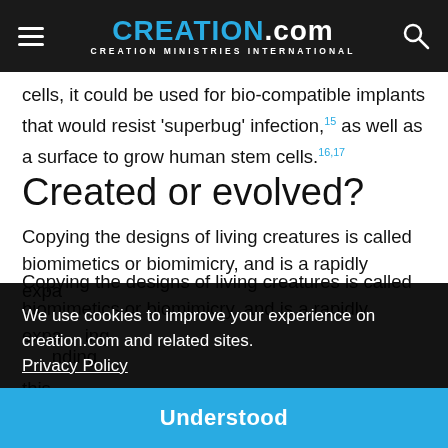CREATION.com — CREATION MINISTRIES INTERNATIONAL
cells, it could be used for bio-compatible implants that would resist 'superbug' infection,15 as well as a surface to grow human stem cells.16,17
Created or evolved?
Copying the designs of living creatures is called biomimetics or biomimicry, and is a rapidly expanding ... this ... of ... of ... can make it work for us. My philosophy has always
We use cookies to improve your experience on creation.com and related sites.
Privacy Policy
Understood